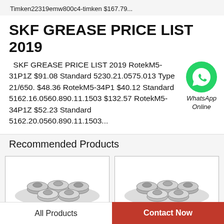Timken22319emw800c4-timken $167.79...
SKF GREASE PRICE LIST 2019
SKF GREASE PRICE LIST 2019 RotekM5-31P1Z $91.08 Standard 5230.21.0575.013 Type 21/650. $48.36 RotekM5-34P1 $40.12 Standard 5162.16.0560.890.11.1503 $132.57 RotekM5-34P1Z $52.23 Standard 5162.20.0560.890.11.1503...
[Figure (logo): WhatsApp Online green circle icon with phone handset, with label 'WhatsApp Online' below]
Recommended Products
[Figure (photo): Product image of small metal flanged ball bearings grouped together, left card]
[Figure (photo): Product image of small metal flanged ball bearings grouped together, right card]
All Products
Contact Now